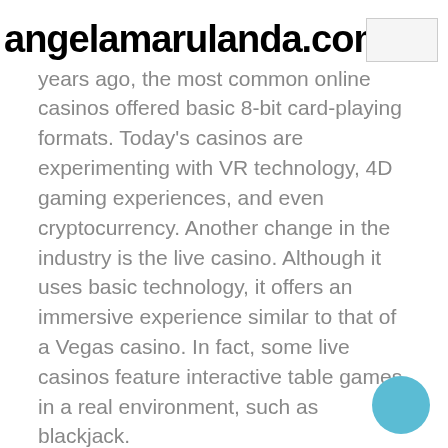angelamarulanda.com
Technology has become a major trend in the world of online gambling. A few years ago, the most common online casinos offered basic 8-bit card-playing formats. Today's casinos are experimenting with VR technology, 4D gaming experiences, and even cryptocurrency. Another change in the industry is the live casino. Although it uses basic technology, it offers an immersive experience similar to that of a Vegas casino. In fact, some live casinos feature interactive table games in a real environment, such as blackjack.
While some people prefer to play real money games at an actual casino, most prefer the convenience and cost-savings that come with online gambling. There are even dozens of online casinos with live dealers, if you feel more comfortable playing these games from home. If you prefer the thrill of playing real money casino